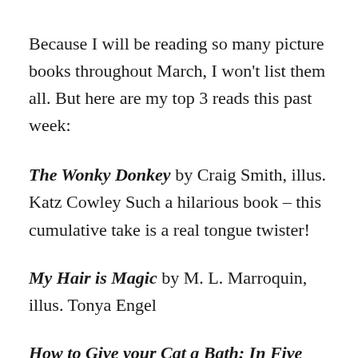Because I will be reading so many picture books throughout March, I won't list them all. But here are my top 3 reads this past week:
The Wonky Donkey by Craig Smith, illus. Katz Cowley Such a hilarious book – this cumulative take is a real tongue twister!
My Hair is Magic by M. L. Marroquin, illus. Tonya Engel
How to Give your Cat a Bath: In Five Easy Steps by